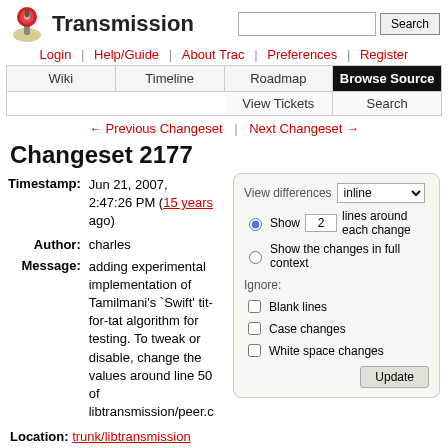Transmission
Login | Help/Guide | About Trac | Preferences | Register
Wiki | Timeline | Roadmap | Browse Source | View Tickets | Search
← Previous Changeset | Next Changeset →
Changeset 2177
Timestamp: Jun 21, 2007, 2:47:26 PM (15 years ago)
Author: charles
Message: adding experimental implementation of Tamilmani's `Swift' tit-for-tat algorithm for testing. To tweak or disable, change the values around line 50 of libtransmission/peer.c
Location: trunk/libtransmission
File: